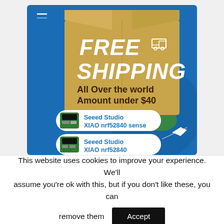[Figure (illustration): Promotional banner for free shipping. Shows a cardboard box on a blue background with text 'FREE SHIPPING All Over the world Amount under $40'. Below are two white pill-shaped badges showing Seeed Studio XIAO nrf52840 sense and Seeed Studio XIAO nrf52840 products with images of the circuit boards. A globe and airplane graphic are visible in the background.]
This website uses cookies to improve your experience. We'll assume you're ok with this, but if you don't like these, you can remove them  Accept